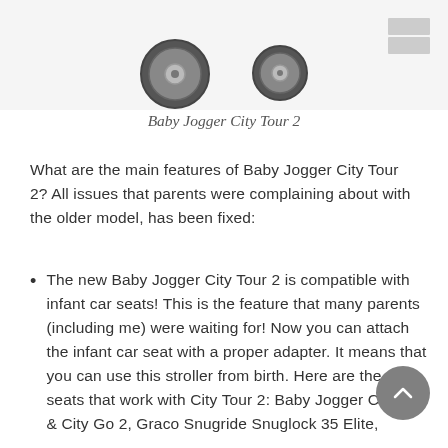[Figure (photo): Two stroller wheels shown partially from top, with a small thumbnail image in the upper right corner]
Baby Jogger City Tour 2
What are the main features of Baby Jogger City Tour 2? All issues that parents were complaining about with the older model, has been fixed:
The new Baby Jogger City Tour 2 is compatible with infant car seats! This is the feature that many parents (including me) were waiting for! Now you can attach the infant car seat with a proper adapter. It means that you can use this stroller from birth. Here are the car seats that work with City Tour 2: Baby Jogger City Go & City Go 2, Graco Snugride Snuglock 35 Elite,